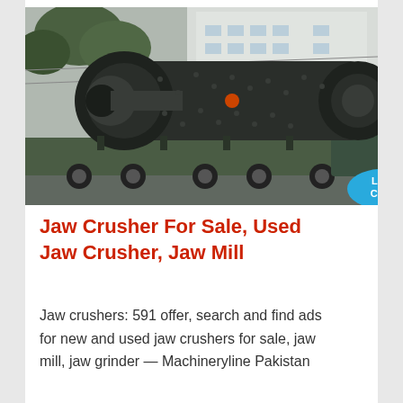[Figure (photo): Large industrial ball mill or drum equipment mounted on a flatbed truck, being transported on a road. Industrial building visible in background. A blue 'Live Chat' speech bubble overlay appears in the bottom-right corner of the image.]
Jaw Crusher For Sale, Used Jaw Crusher, Jaw Mill
Jaw crushers: 591 offer, search and find ads for new and used jaw crushers for sale, jaw mill, jaw grinder — Machineryline Pakistan